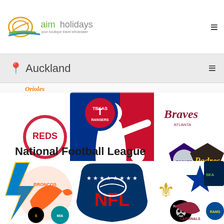aim holidays - your boutique travel wholesaler
Auckland
[Figure (logo): Major League Baseball banner showing MLB logo with batter silhouette in blue and red, surrounded by team logos: Reds, Texas Rangers, Mets, Braves, Rockies, Padres and others]
National Football League
[Figure (logo): NFL logo shield in blue with red NFL letters surrounded by team logos: Chargers, Broncos, Saints, Raiders, Steelers, Dolphins, Cowboys, Cardinals, Seahawks, Rams, Lions]